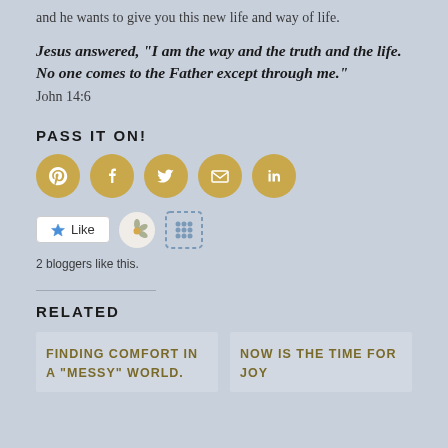and he wants to give you this new life and way of life.
Jesus answered, “I am the way and the truth and the life. No one comes to the Father except through me.” John 14:6
PASS IT ON!
[Figure (infographic): Row of 5 social share buttons (Pinterest, Facebook, Twitter, Email, LinkedIn) as gold circles with white icons]
[Figure (infographic): Like button with star icon, two blogger avatar icons, and text '2 bloggers like this.']
2 bloggers like this.
RELATED
FINDING COMFORT IN A “MESSY” WORLD.
NOW IS THE TIME FOR JOY